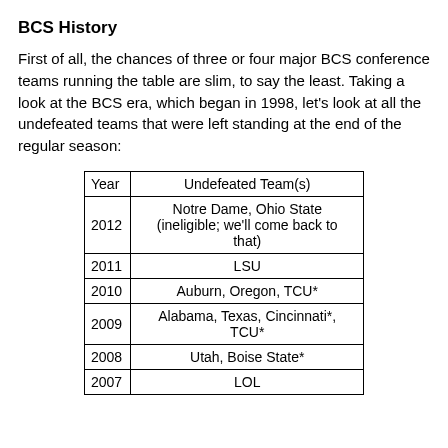BCS History
First of all, the chances of three or four major BCS conference teams running the table are slim, to say the least. Taking a look at the BCS era, which began in 1998, let's look at all the undefeated teams that were left standing at the end of the regular season:
| Year | Undefeated Team(s) |
| --- | --- |
| 2012 | Notre Dame, Ohio State (ineligible; we'll come back to that) |
| 2011 | LSU |
| 2010 | Auburn, Oregon, TCU* |
| 2009 | Alabama, Texas, Cincinnati*, TCU* |
| 2008 | Utah, Boise State* |
| 2007 | LOL |